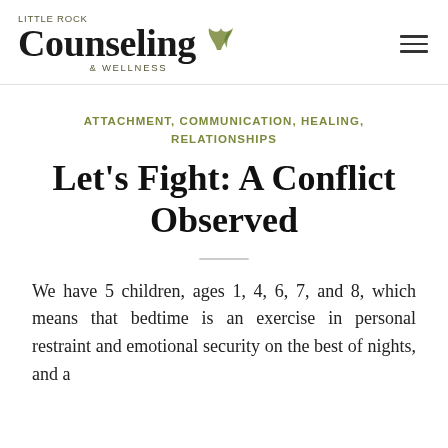[Figure (logo): Little Rock Counseling & Wellness logo with leaf graphic and hamburger menu icon]
ATTACHMENT, COMMUNICATION, HEALING, RELATIONSHIPS
Let's Fight: A Conflict Observed
We have 5 children, ages 1, 4, 6, 7, and 8, which means that bedtime is an exercise in personal restraint and emotional security on the best of nights, and a